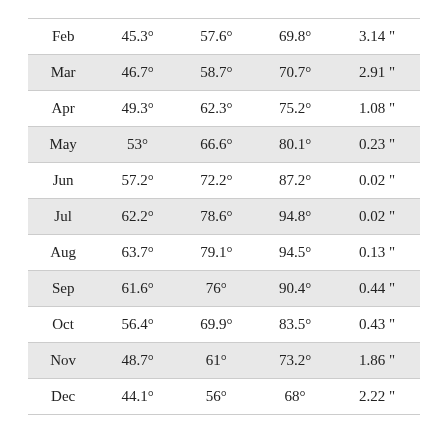| Feb | 45.3° | 57.6° | 69.8° | 3.14 " |
| Mar | 46.7° | 58.7° | 70.7° | 2.91 " |
| Apr | 49.3° | 62.3° | 75.2° | 1.08 " |
| May | 53° | 66.6° | 80.1° | 0.23 " |
| Jun | 57.2° | 72.2° | 87.2° | 0.02 " |
| Jul | 62.2° | 78.6° | 94.8° | 0.02 " |
| Aug | 63.7° | 79.1° | 94.5° | 0.13 " |
| Sep | 61.6° | 76° | 90.4° | 0.44 " |
| Oct | 56.4° | 69.9° | 83.5° | 0.43 " |
| Nov | 48.7° | 61° | 73.2° | 1.86 " |
| Dec | 44.1° | 56° | 68° | 2.22 " |